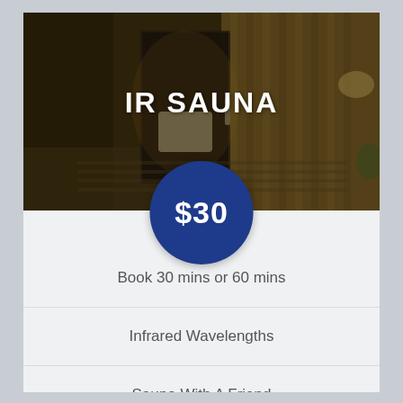[Figure (photo): Interior of an infrared sauna room with warm amber lighting, wooden panels, glass door, and a lounge chair visible]
IR SAUNA
$30
Book 30 mins or 60 mins
Infrared Wavelengths
Sauna With A Friend